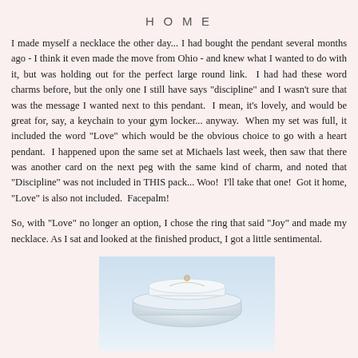HOME
I made myself a necklace the other day... I had bought the pendant several months ago - I think it even made the move from Ohio - and knew what I wanted to do with it, but was holding out for the perfect large round link.  I had had these word charms before, but the only one I still have says "discipline" and I wasn't sure that was the message I wanted next to this pendant.  I mean, it's lovely, and would be great for, say, a keychain to your gym locker... anyway.  When my set was full, it included the word "Love" which would be the obvious choice to go with a heart pendant.  I happened upon the same set at Michaels last week, then saw that there was another card on the next peg with the same kind of charm, and noted that "Discipline" was not included in THIS pack... Woo!  I'll take that one!  Got it home, "Love" is also not included.  Facepalm!
So, with "Love" no longer an option, I chose the ring that said "Joy" and made my necklace. As I sat and looked at the finished product, I got a little sentimental.
[Figure (photo): Photo of a necklace on a light blue/white display, showing a delicate chain with pendant.]